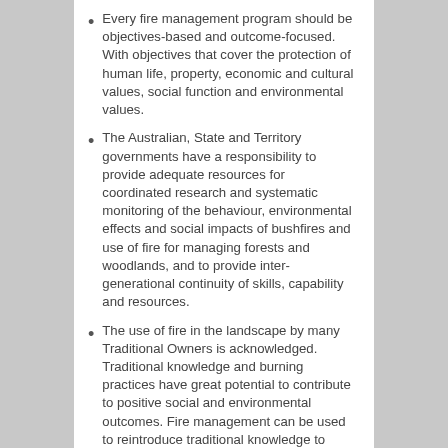Every fire management program should be objectives-based and outcome-focused. With objectives that cover the protection of human life, property, economic and cultural values, social function and environmental values.
The Australian, State and Territory governments have a responsibility to provide adequate resources for coordinated research and systematic monitoring of the behaviour, environmental effects and social impacts of bushfires and use of fire for managing forests and woodlands, and to provide inter-generational continuity of skills, capability and resources.
The use of fire in the landscape by many Traditional Owners is acknowledged. Traditional knowledge and burning practices have great potential to contribute to positive social and environmental outcomes. Fire management can be used to reintroduce traditional knowledge to